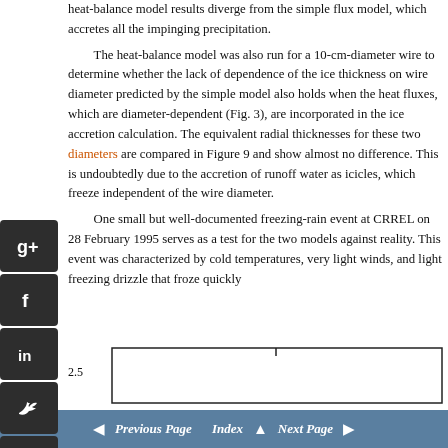heat-balance model results diverge from the simple flux model, which accretes all the impinging precipitation.
The heat-balance model was also run for a 10-cm-diameter wire to determine whether the lack of dependence of the ice thickness on wire diameter predicted by the simple model also holds when the heat fluxes, which are diameter-dependent (Fig. 3), are incorporated in the ice accretion calculation. The equivalent radial thicknesses for these two diameters are compared in Figure 9 and show almost no difference. This is undoubtedly due to the accretion of runoff water as icicles, which freeze independent of the wire diameter.
One small but well-documented freezing-rain event at CRREL on 28 February 1995 serves as a test for the two models against reality. This event was characterized by cold temperatures, very light winds, and light freezing drizzle that froze quickly
[Figure (other): Partial chart visible at bottom of page showing y-axis value 2.5 and a box outline, chart continues on next page]
Previous Page  Index  Next Page